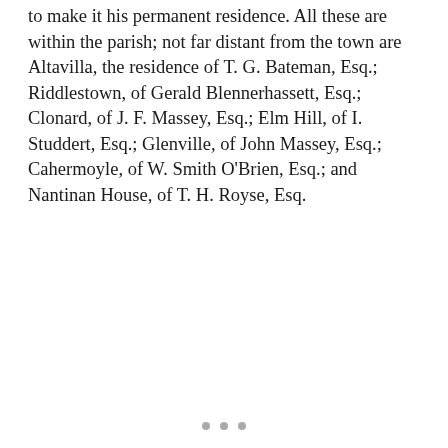to make it his permanent residence. All these are within the parish; not far distant from the town are Altavilla, the residence of T. G. Bateman, Esq.; Riddlestown, of Gerald Blennerhassett, Esq.; Clonard, of J. F. Massey, Esq.; Elm Hill, of I. Studdert, Esq.; Glenville, of John Massey, Esq.; Cahermoyle, of W. Smith O'Brien, Esq.; and Nantinan House, of T. H. Royse, Esq.